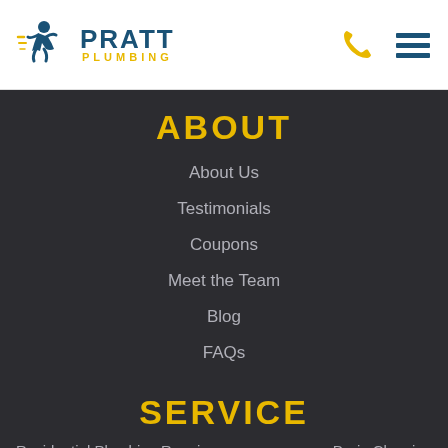[Figure (logo): Pratt Plumbing logo with running figure and wrench icon in blue and yellow]
[Figure (other): Phone icon (yellow) and hamburger menu icon (dark blue lines)]
ABOUT
About Us
Testimonials
Coupons
Meet the Team
Blog
FAQs
SERVICE
Residential Plumbing Repair
Drain Cleaning